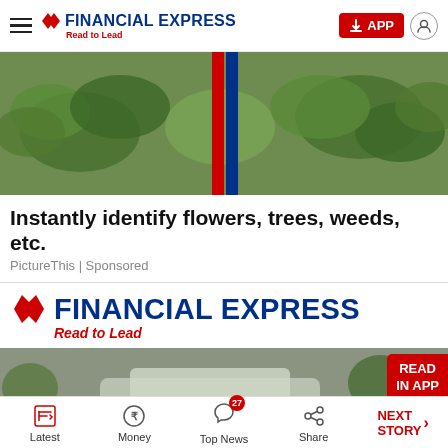FINANCIAL EXPRESS Read to Lead
[Figure (photo): Close-up of green leafy plants with red and blue vertical stripes in the center, advertisement for PictureThis app]
Instantly identify flowers, trees, weeds, etc.
PictureThis | Sponsored
[Figure (logo): Financial Express logo large - Read to Lead tagline in red]
[Figure (photo): News article image showing cars on a muddy road with a READ IN APP button overlay]
Latest  Money  Top News 27  Share  NEXT STORY